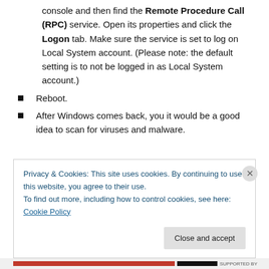console and then find the Remote Procedure Call (RPC) service. Open its properties and click the Logon tab. Make sure the service is set to log on Local System account. (Please note: the default setting is to not be logged in as Local System account.)
Reboot.
After Windows comes back, you it would be a good idea to scan for viruses and malware.
Privacy & Cookies: This site uses cookies. By continuing to use this website, you agree to their use. To find out more, including how to control cookies, see here: Cookie Policy
Close and accept